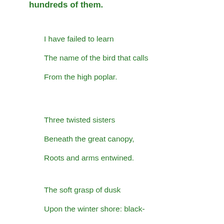hundreds of them.
I have failed to learn

The name of the bird that calls

From the high poplar.

Three twisted sisters

Beneath the great canopy,

Roots and arms entwined.

The soft grasp of dusk

Upon the winter shore: black-

Hooded plover waits.